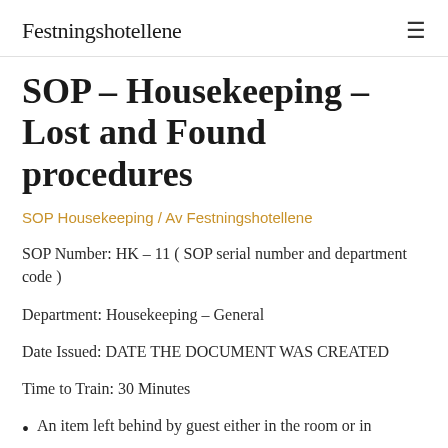Festningshotellene
SOP – Housekeeping – Lost and Found procedures
SOP Housekeeping / Av Festningshotellene
SOP Number: HK – 11 ( SOP serial number and department code )
Department: Housekeeping – General
Date Issued: DATE THE DOCUMENT WAS CREATED
Time to Train: 30 Minutes
An item left behind by guest either in the room or in